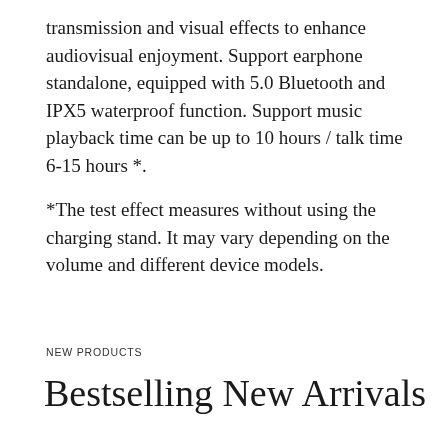transmission and visual effects to enhance audiovisual enjoyment. Support earphone standalone, equipped with 5.0 Bluetooth and IPX5 waterproof function. Support music playback time can be up to 10 hours / talk time 6-15 hours *.
*The test effect measures without using the charging stand. It may vary depending on the volume and different device models.
NEW PRODUCTS
Bestselling New Arrivals